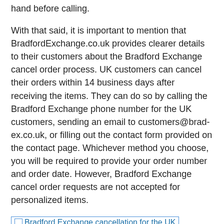hand before calling.
With that said, it is important to mention that BradfordExchange.co.uk provides clearer details to their customers about the Bradford Exchange cancel order process. UK customers can cancel their orders within 14 business days after receiving the items. They can do so by calling the Bradford Exchange phone number for the UK customers, sending an email to customers@brad-ex.co.uk, or filling out the contact form provided on the contact page. Whichever method you choose, you will be required to provide your order number and order date. However, Bradford Exchange cancel order requests are not accepted for personalized items.
[Figure (other): Image placeholder: Bradford Exchange cancellation for the UK]
2. Is The Bradford Exchange Legit?